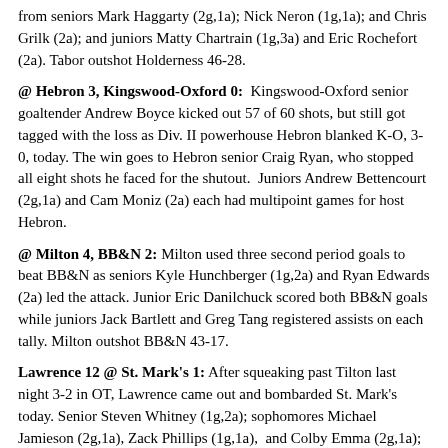from seniors Mark Haggarty (2g,1a); Nick Neron (1g,1a); and Chris Grilk (2a); and juniors Matty Chartrain (1g,3a) and Eric Rochefort (2a). Tabor outshot Holderness 46-28.
@ Hebron 3, Kingswood-Oxford 0: Kingswood-Oxford senior goaltender Andrew Boyce kicked out 57 of 60 shots, but still got tagged with the loss as Div. II powerhouse Hebron blanked K-O, 3-0, today. The win goes to Hebron senior Craig Ryan, who stopped all eight shots he faced for the shutout. Juniors Andrew Bettencourt (2g,1a) and Cam Moniz (2a) each had multipoint games for host Hebron.
@ Milton 4, BB&N 2: Milton used three second period goals to beat BB&N as seniors Kyle Hunchberger (1g,2a) and Ryan Edwards (2a) led the attack. Junior Eric Danilchuck scored both BB&N goals while juniors Jack Bartlett and Greg Tang registered assists on each tally. Milton outshot BB&N 43-17.
Lawrence 12 @ St. Mark's 1: After squeaking past Tilton last night 3-2 in OT, Lawrence came out and bombarded St. Mark's today. Senior Steven Whitney (1g,2a); sophomores Michael Jamieson (2g,1a), Zack Phillips (1g,1a), and Colby Emma (2g,1a); and freshmen Tyler Whitney (2g,3a), Brady Burns (4a), Will Messa (1g,2a), and Matt Baldino (2g) all led the offensive barrage. Lawrence outshot St. Mark's 54-13.